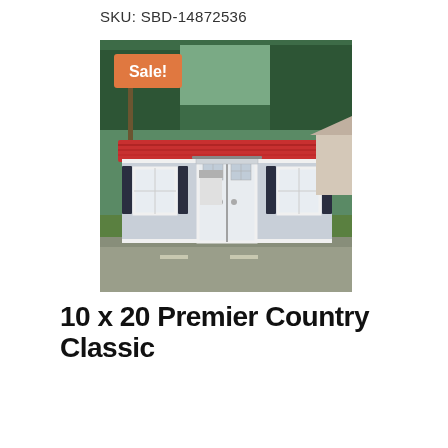SKU: SBD-14872536
[Figure (photo): Outdoor storage shed with red metal roof, gray siding, white trim, double barn doors in center, two windows with black shutters on each side, parked on green grass with trees in background. Orange 'Sale!' badge in top-left corner of photo.]
Sale!
10 x 20 Premier Country Classic